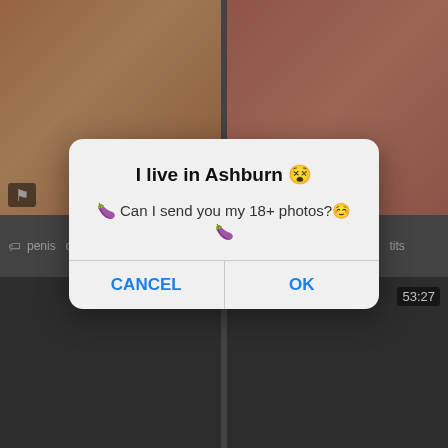[Figure (screenshot): Screenshot of a video thumbnail grid website with adult content tags, overlaid with a browser dialog box saying 'I live in Ashburn' with Cancel and OK buttons]
penis  cock  high definition
teen  orgies  teen big tits
penis
penis  teen big tits  milf  cock
I live in Ashburn 😵
🍆 Can I send you my 18+ photos?☺️🍆
CANCEL
OK